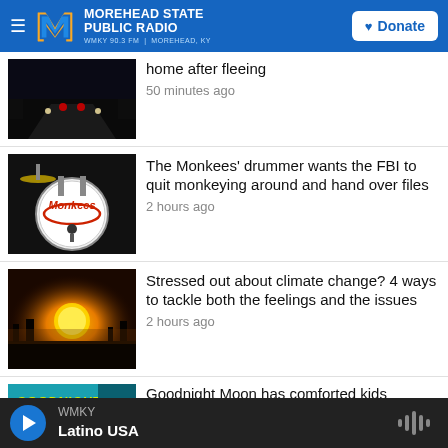Morehead State Public Radio — WMKY 90.3 FM | Morehead, KY — Donate
home after fleeing
50 minutes ago
The Monkees' drummer wants the FBI to quit monkeying around and hand over files
2 hours ago
Stressed out about climate change? 4 ways to tackle both the feelings and the issues
2 hours ago
Goodnight Moon has comforted kids
WMKY — Latino USA